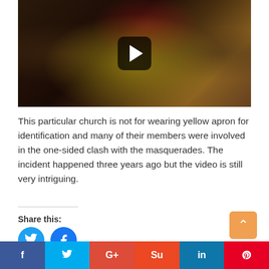[Figure (screenshot): Video thumbnail showing a person in a yellow patterned garment and red cap/helmet in a crowd scene, with a YouTube-style play button overlay]
This particular church is not for wearing yellow apron for identification and many of their members were involved in the one-sided clash with the masquerades. The incident happened three years ago but the video is still very intriguing.
Share this:
[Figure (other): Twitter and Facebook share buttons (circular icons)]
f  Twitter  G+  Su  in  Pinterest